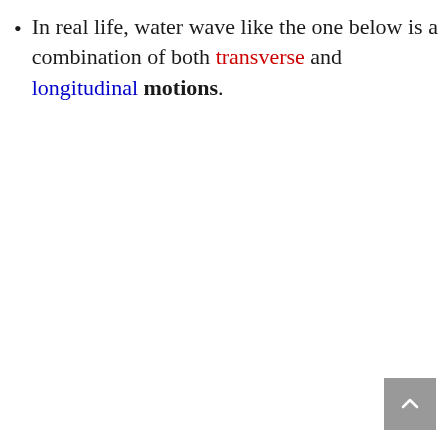In real life, water wave like the one below is a combination of both transverse and longitudinal motions.